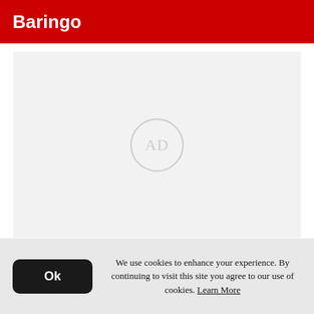Baringo
[Figure (other): Advertisement placeholder with 'AD' text inside a circle on a light grey background]
We use cookies to enhance your experience. By continuing to visit this site you agree to our use of cookies. Learn More